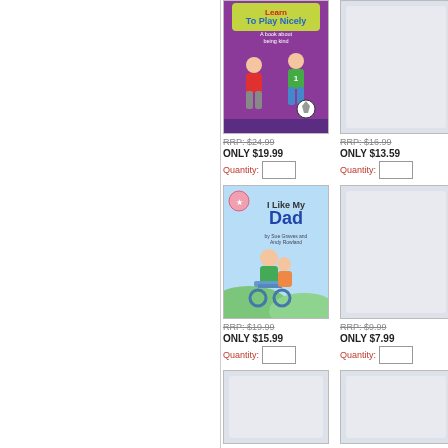[Figure (illustration): Book cover: 'Learn to Play Nicely - A book about being kind' with children playing soccer, purple background]
RRP: $24.99
ONLY $19.99
Quantity:
[Figure (illustration): Partially visible book cover, right side cropped, light gray/lavender background]
RRP: $16.99
ONLY $13.59
Quantity:
[Figure (illustration): Book cover: 'I Like My Dad' showing a father in wheelchair with child, light blue background]
RRP: $19.99
ONLY $15.99
Quantity:
[Figure (illustration): Partially visible book cover, right side cropped, light gray background]
RRP: $9.99
ONLY $7.99
Quantity:
[Figure (illustration): Partially visible book cover bottom, light gray background, cropped at page bottom]
[Figure (illustration): Partially visible book cover bottom right, light gray background, cropped at page bottom]